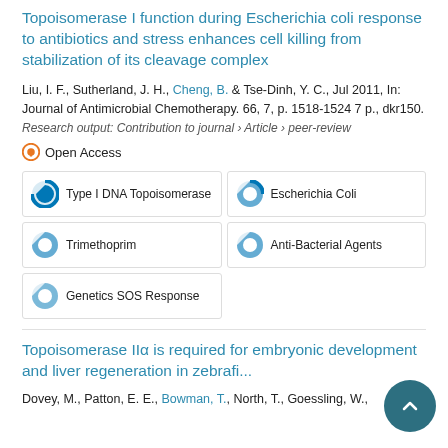Topoisomerase I function during Escherichia coli response to antibiotics and stress enhances cell killing from stabilization of its cleavage complex
Liu, I. F., Sutherland, J. H., Cheng, B. & Tse-Dinh, Y. C., Jul 2011, In: Journal of Antimicrobial Chemotherapy. 66, 7, p. 1518-1524 7 p., dkr150.
Research output: Contribution to journal › Article › peer-review
Open Access
Type I DNA Topoisomerase
Escherichia Coli
Trimethoprim
Anti-Bacterial Agents
Genetics SOS Response
Topoisomerase IIα is required for embryonic development and liver regeneration in zebrafi...
Dovey, M., Patton, E. E., Bowman, T., North, T., Goessling, W.,